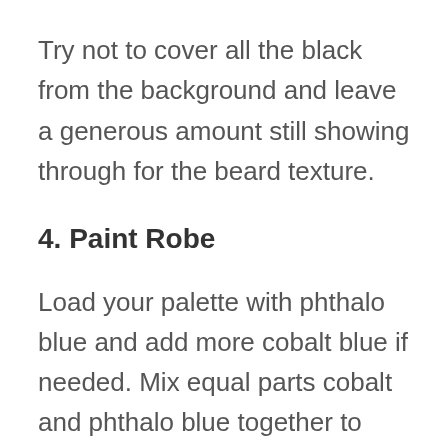Try not to cover all the black from the background and leave a generous amount still showing through for the beard texture.
4. Paint Robe
Load your palette with phthalo blue and add more cobalt blue if needed. Mix equal parts cobalt and phthalo blue together to create a darker blue. Use that blue to paint the sleeves